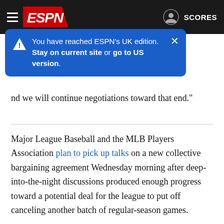ESPN — SCORES
You have reached ESPN's UK edition. Stay on current site or go to US version.
...nd we will continue negotiations toward that end."
Major League Baseball and the MLB Players Association plan to pick up talks on a new collective bargaining agreement Wednesday morning after deep-into-the-night discussions produced enough progress toward a potential deal for the league to put off canceling another batch of regular-season games.
Nearly 17 hours of bargaining starting Tuesday morning and ending past 3 a.m. ET yielded some breakthroughs on the 97th day of MLB's lockout, but the union requested to reconvene with player leaders Wednesday before responding to the